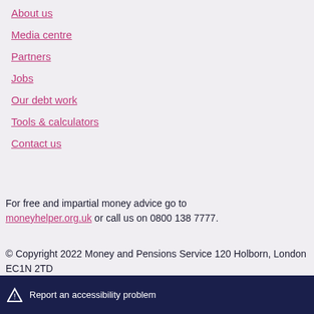About us
Media centre
Partners
Jobs
Our debt work
Tools & calculators
Contact us
For free and impartial money advice go to moneyhelper.org.uk or call us on 0800 138 7777.
© Copyright 2022 Money and Pensions Service 120 Holborn, London EC1N 2TD
Report an accessibility problem